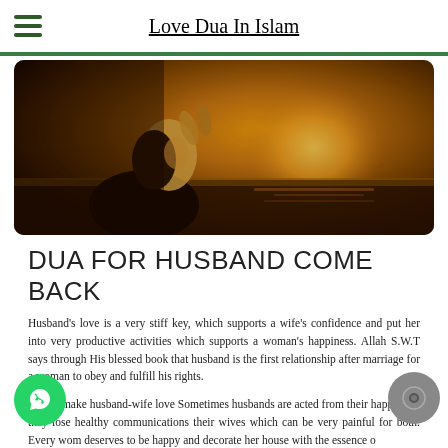Love Dua In Islam
[Figure (photo): A woman in a hijab with hands raised in prayer, golden sunset light in background over water]
DUA FOR HUSBAND COME BACK
Husband's love is a very stiff key, which supports a wife's confidence and put her into very productive activities which supports a woman's happiness. Allah S.W.T says through His blessed book that husband is the first relationship after marriage for a woman to obey and fulfill his rights.
Dua to make husband-wife love Sometimes husbands are acted from their happy life, they lose healthy communications their wives which can be very painful for both. Every wom deserves to be happy and decorate her house with the essence of